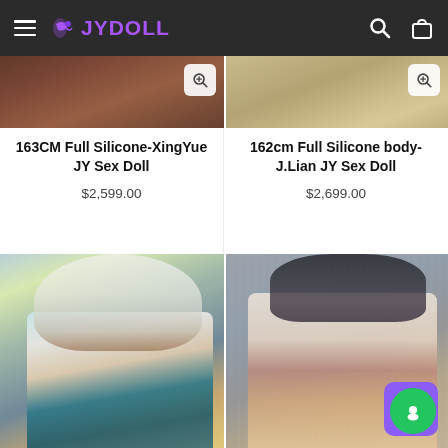JYDOLL
[Figure (photo): Partial product photo top-left: close-up of doll/figure in dark floral outfit]
[Figure (photo): Partial product photo top-right: close-up of doll/figure with light lace details]
163CM Full Silicone-XingYue JY Sex Doll
$2,599.00
162cm Full Silicone body-J.Lian JY Sex Doll
$2,699.00
[Figure (photo): Product photo: anime-style doll with white/silver hair, blue eyes, wearing teal velvet bikini top with jeweled details and pearl necklace, bokeh background]
[Figure (photo): Product photo: realistic-style doll with long black hair, wearing beige/mauve strapless bra and underwear, against gray ribbed background]